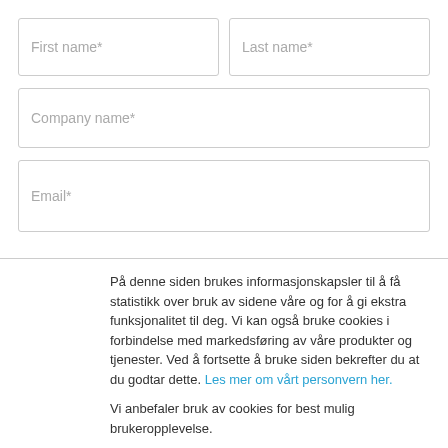[Figure (screenshot): Web form with input fields: First name, Last name, Company name, Email]
På denne siden brukes informasjonskapsler til å få statistikk over bruk av sidene våre og for å gi ekstra funksjonalitet til deg. Vi kan også bruke cookies i forbindelse med markedsføring av våre produkter og tjenester. Ved å fortsette å bruke siden bekrefter du at du godtar dette. Les mer om vårt personvern her.
Vi anbefaler bruk av cookies for best mulig brukeropplevelse.
Jeg samtykker
Jeg samtykker ikke